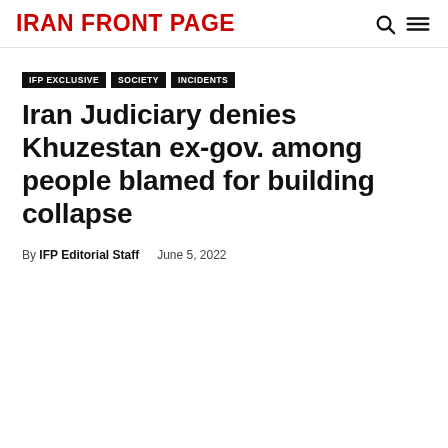IRAN FRONT PAGE
IFP EXCLUSIVE
SOCIETY
INCIDENTS
Iran Judiciary denies Khuzestan ex-gov. among people blamed for building collapse
By IFP Editorial Staff   June 5, 2022